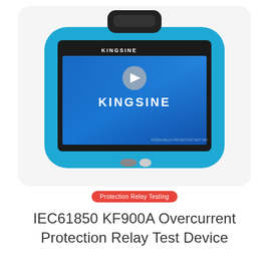[Figure (photo): KINGSINE KF900A portable relay test device with blue rubber casing, black carry handle on top, and a screen displaying the KINGSINE logo on a blue background with a video play button overlay. Below the device are two navigation dots.]
Protection Relay Testing
IEC61850 KF900A Overcurrent Protection Relay Test Device